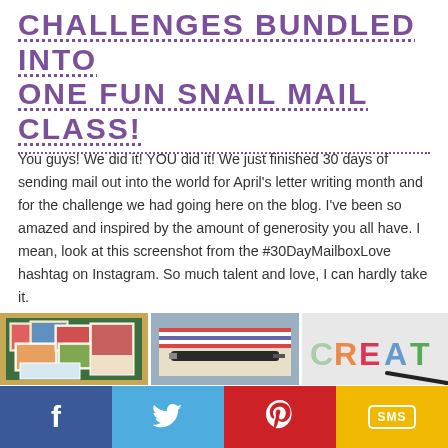CHALLENGES BUNDLED INTO ONE FUN SNAIL MAIL CLASS!
You guys! We did it! YOU did it! We just finished 30 days of sending mail out into the world for April's letter writing month and for the challenge we had going here on the blog. I've been so amazed and inspired by the amount of generosity you all have. I mean, look at this screenshot from the #30DayMailboxLove hashtag on Instagram. So much talent and love, I can hardly take it.
[Figure (photo): Photo of colorful postage stamps scattered on a green cutting mat with a wood background]
[Figure (photo): Photo of an envelope with decorative border and a pen lying across it]
[Figure (photo): Photo of colorful hand-lettered word CREATE on white paper with a pen]
f  [Twitter bird]  [Pinterest P]  SMS